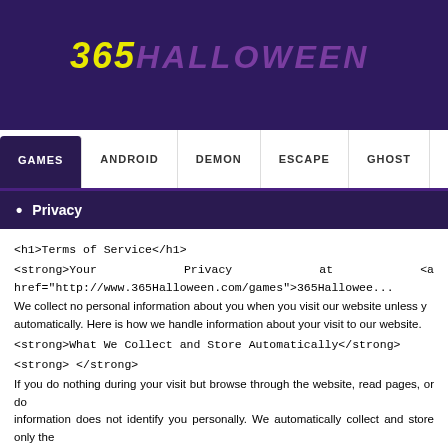365 HALLOWEEN
GAMES  ANDROID  DEMON  ESCAPE  GHOST  PLA...
Privacy
<h1>Terms of Service</h1>
<strong>Your Privacy at <a href="http://www.365Halloween.com/games">365Halloween...</a></strong>
We collect no personal information about you when you visit our website unless you choose to provide that information to us automatically. Here is how we handle information about your visit to our website.
<strong>What We Collect and Store Automatically</strong>
<strong> </strong>
If you do nothing during your visit but browse through the website, read pages, or do... information does not identify you personally. We automatically collect and store only the...
<ul>
<li>The Internet domain (for example, "xcompany.com" if you use a private Internet ac... address is a number that is automatically assigned to your computer whenever you are...</li>
<li>The type of browser and operating system used to access our site.</li>
<li>The date and time you access our site.</li>
<li>The pages you visit.</li>
</ul>